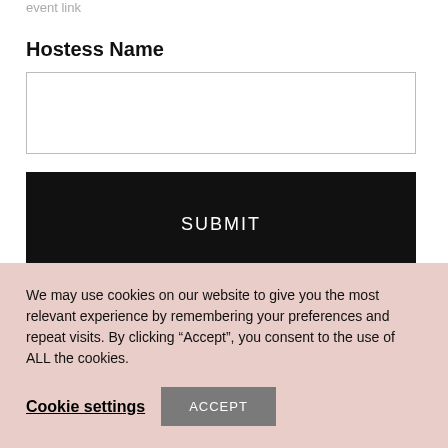event link
Hostess Name
[Figure (other): Empty text input field for Hostess Name]
SUBMIT
Party Links
We may use cookies on our website to give you the most relevant experience by remembering your preferences and repeat visits. By clicking “Accept”, you consent to the use of ALL the cookies.
Cookie settings
ACCEPT